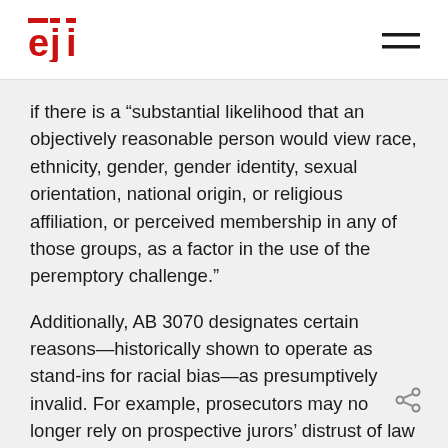eji [logo] [hamburger menu]
if there is a “substantial likelihood that an objectively reasonable person would view race, ethnicity, gender, gender identity, sexual orientation, national origin, or religious affiliation, or perceived membership in any of those groups, as a factor in the use of the peremptory challenge.”
Additionally, AB 3070 designates certain reasons—historically shown to operate as stand-ins for racial bias—as presumptively invalid. For example, prosecutors may no longer rely on prospective jurors’ distrust of law enforcement, previous contacts with the criminal justice system, neighborhood, native language, demeanor, or personal appearance to exclude them from jury service.